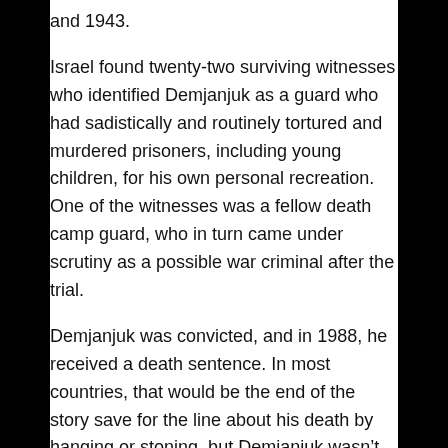and 1943.
Israel found twenty-two surviving witnesses who identified Demjanjuk as a guard who had sadistically and routinely tortured and murdered prisoners, including young children, for his own personal recreation. One of the witnesses was a fellow death camp guard, who in turn came under scrutiny as a possible war criminal after the trial.
Demjanjuk was convicted, and in 1988, he received a death sentence. In most countries, that would be the end of the story save for the line about his death by hanging or stoning, but Demjanjuk wasn't convicted in “most countries.” He was convicted in Israel—one of those minority nations that has a workable justice system that isn’t directly ruled by hysteria or a drug mafia.
Since he was in Israel, Demjanjuk was entitled to a